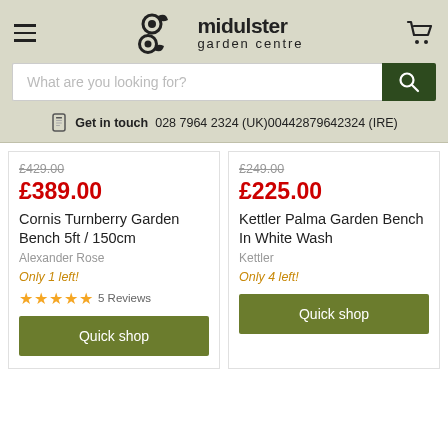Mid Ulster Garden Centre
What are you looking for?
Get in touch  028 7964 2324 (UK)00442879642324 (IRE)
£429.00
£389.00
Cornis Turnberry Garden Bench 5ft / 150cm
Alexander Rose
Only 1 left!
5 Reviews
Quick shop
£249.00
£225.00
Kettler Palma Garden Bench In White Wash
Kettler
Only 4 left!
Quick shop